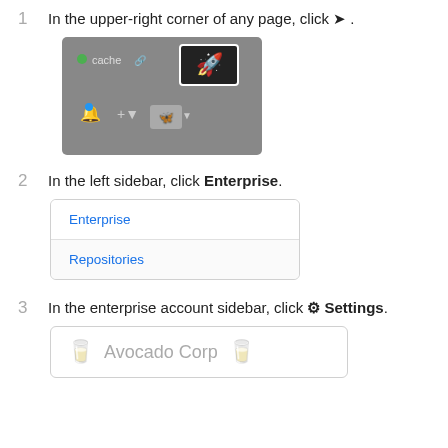In the upper-right corner of any page, click ➤.
[Figure (screenshot): Screenshot of GitHub top navigation bar showing cache repository, rocket/deploy button highlighted, notification bell with blue dot, plus button, and Octocat avatar button]
In the left sidebar, click Enterprise.
[Figure (screenshot): Dropdown menu showing two items: Enterprise (highlighted) and Repositories, with a light gray rounded border]
In the enterprise account sidebar, click ⚙ Settings.
[Figure (screenshot): Settings panel showing Avocado Corp with avocado emoji icons on left and right of text]